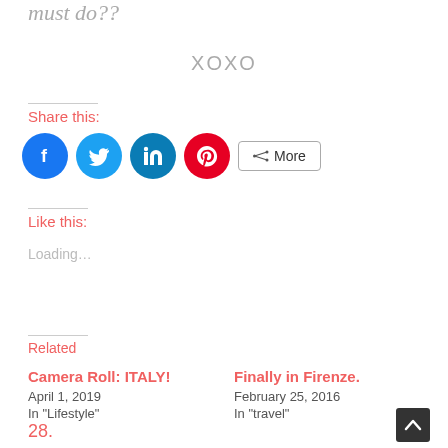must do??
XOXO
Share this:
[Figure (infographic): Social share buttons: Facebook (blue circle), Twitter (light blue circle), LinkedIn (dark blue circle), Pinterest (red circle), More button with share icon]
Like this:
Loading…
Related
Camera Roll: ITALY!
April 1, 2019
In "Lifestyle"
Finally in Firenze.
February 25, 2016
In "travel"
28.